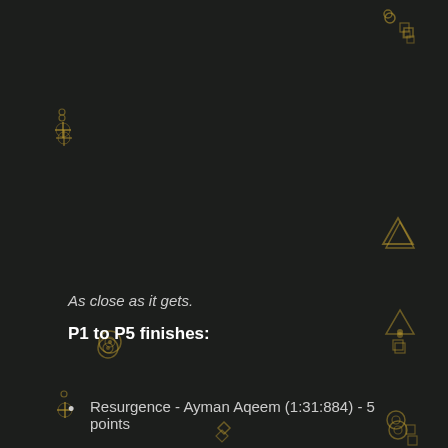[Figure (illustration): Dark background with scattered golden decorative symbols (diamonds, circles, crosses, triangles, squares) spread across the page in a game/scoreboard UI style]
As close as it gets.
P1 to P5 finishes:
Resurgence - Ayman Aqeem (1:31:884) - 5 points